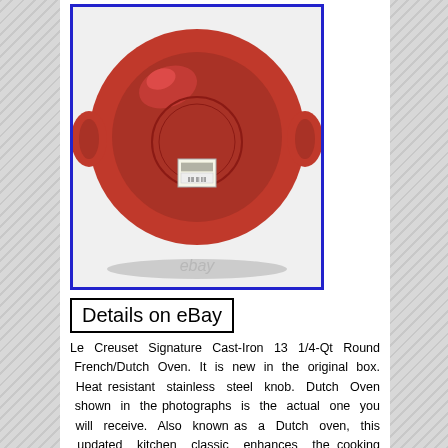[Figure (photo): Bottom view of a red Le Creuset round Dutch oven with two handles, shown upside down on a white background. A price/barcode sticker is visible on the bottom. An eBay watermark appears at the bottom of the image. The photo is framed with a blue border.]
Details on eBay
Le Creuset Signature Cast-Iron 13 1/4-Qt Round French/Dutch Oven. It is new in the original box. Heat resistant stainless steel knob. Dutch Oven shown in the photographs is the actual one you will receive. Also known as a Dutch oven, this updated kitchen classic enhances the cooking process by evenly distributing heat and locking in the optimal amount of moisture. With ergonomic handles and an advanced interior enamel that resists chipping and cleans